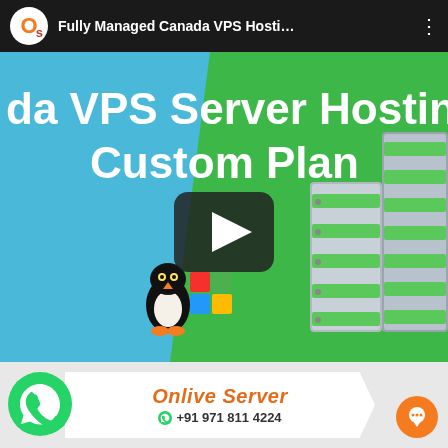Fully Managed Canada VPS Hosti…
[Figure (screenshot): Video thumbnail showing Canada VPS Server Hosting Custom Plan advertisement with blue and green background, server rack images, Linux/Windows OS icons, play button overlay, Onlive Server branding, and WhatsApp contact +91 971 811 4224]